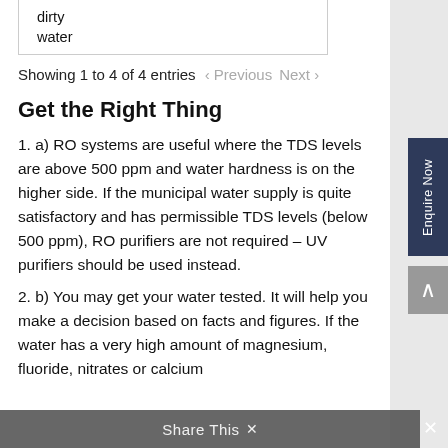| dirty |
| water |
Showing 1 to 4 of 4 entries < Previous Next >
Get the Right Thing
1. a) RO systems are useful where the TDS levels are above 500 ppm and water hardness is on the higher side. If the municipal water supply is quite satisfactory and has permissible TDS levels (below 500 ppm), RO purifiers are not required – UV purifiers should be used instead.
2. b) You may get your water tested. It will help you make a decision based on facts and figures. If the water has a very high amount of magnesium, fluoride, nitrates or calcium